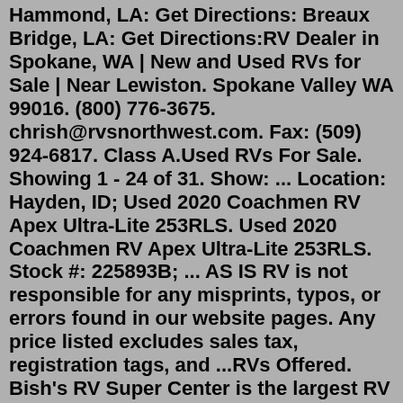Hammond, LA: Get Directions: Breaux Bridge, LA: Get Directions:RV Dealer in Spokane, WA | New and Used RVs for Sale | Near Lewiston. Spokane Valley WA 99016. (800) 776-3675. chrish@rvsnorthwest.com. Fax: (509) 924-6817. Class A.Used RVs For Sale. Showing 1 - 24 of 31. Show: ... Location: Hayden, ID; Used 2020 Coachmen RV Apex Ultra-Lite 253RLS. Used 2020 Coachmen RV Apex Ultra-Lite 253RLS. Stock #: 225893B; ... AS IS RV is not responsible for any misprints, typos, or errors found in our website pages. Any price listed excludes sales tax, registration tags, and ...RVs Offered. Bish's RV Super Center is the largest RV Center in Idaho with an awe-inspiring inventory or more than 1000 elite motor homes, travel trailers, fifth wheels, fold-down campers, toy haulers, expandable trailers and Class C motor homes for sale. You can also find used motorhomes for sale by owner and private sellers - pre-owned classic, old and late model motorhomes. RVs on Autotrader also helps you check motorhome prices or sell motorhomes. If you're lucky, you can even find a great deal on a cheap